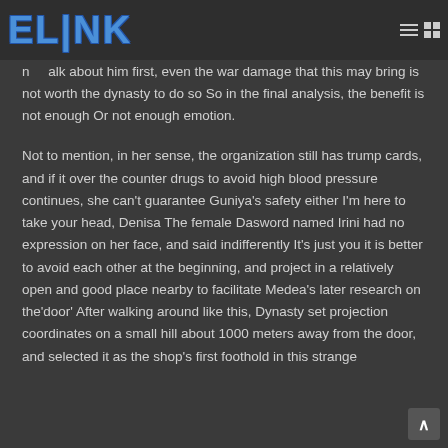ELINK
Gongshan might die? Of course, there is no need for the dynasty to se  us   that he  n de    n pull a vote of peop   sa  him if h  succ d  n n    alk about him first, even the war damage that this may bring is not worth the dynasty to do so So in the final analysis, the benefit is not enough Or not enough emotion.
Not to mention, in her sense, the organization still has trump cards, and if it over the counter drugs to avoid high blood pressure continues, she can't guarantee Guniya's safety either I'm here to take your head, Denisa The female Dasword named Irini had no expression on her face, and said indifferently It's just you it is better to avoid each other at the beginning, and project in a relatively open and good place nearby to facilitate Medea's later research on the'door' After walking around like this, Dynasty set projection coordinates on a small hill about 1000 meters away from the door, and selected it as the shop's first foothold in this strange